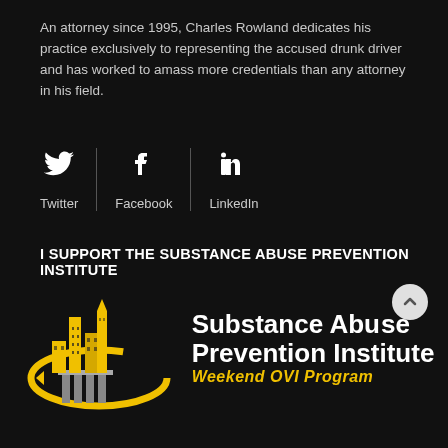An attorney since 1995, Charles Rowland dedicates his practice exclusively to representing the accused drunk driver and has worked to amass more credentials than any attorney in his field.
[Figure (infographic): Social media icons row: Twitter bird icon, Facebook 'f' icon, LinkedIn 'in' icon with labels below each, separated by vertical dividers on dark background.]
I SUPPORT THE SUBSTANCE ABUSE PREVENTION INSTITUTE
[Figure (logo): Substance Abuse Prevention Institute Weekend OVI Program logo — gold and grey city/building silhouette with gold swoosh arc, white bold text 'Substance Abuse Prevention Institute' and gold italic text 'Weekend OVI Program']